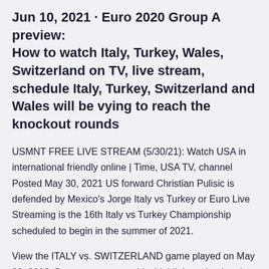Jun 10, 2021 · Euro 2020 Group A preview: How to watch Italy, Turkey, Wales, Switzerland on TV, live stream, schedule Italy, Turkey, Switzerland and Wales will be vying to reach the knockout rounds
USMNT FREE LIVE STREAM (5/30/21): Watch USA in international friendly online | Time, USA TV, channel Posted May 30, 2021 US forward Christian Pulisic is defended by Mexico's Jorge Italy vs Turkey or Euro Live Streaming is the 16th Italy vs Turkey Championship scheduled to begin in the summer of 2021.
View the ITALY vs. SWITZERLAND game played on May 29, 2019. Box score, stats, odds, highlights, play-by-play, social & more IFAF men's 2020 European Championship - IV Alps Bowl Jun 10, 2021 · Euro 2020